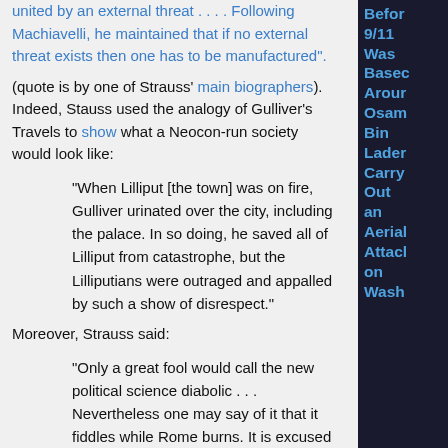united by an external threat . . . . Following Machiavelli, he maintained that if no external threat exists then one has to be manufactured".
(quote is by one of Strauss' main biographers). Indeed, Stauss used the analogy of Gulliver's Travels to show what a Neocon-run society would look like:
"When Lilliput [the town] was on fire, Gulliver urinated over the city, including the palace. In so doing, he saved all of Lilliput from catastrophe, but the Lilliputians were outraged and appalled by such a show of disrespect."
Moreover, Strauss said:
"Only a great fool would call the new political science diabolic . . . Nevertheless one may say of it that it fiddles while Rome burns. It is excused by two facts: it does not know that it fiddles, and it does not know that Rome burns."
So Strauss seems to have advocated governments letting terrorizing catastrophes happen on one's own soil to one's own people -- of "pissing" on one's own
[Figure (other): Right sidebar with dark background showing partially visible text about 9/11, Osama Bin Laden, Aerial Attack on Washington in blue bold text]
receives no or corporate rely on your support.
[Figure (other): Orange Donate button]
hly: